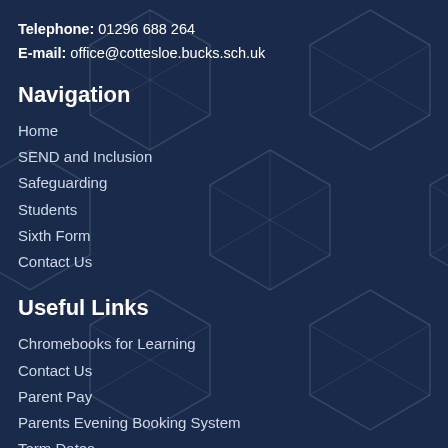Telephone: 01296 688 264
E-mail: office@cottesloe.bucks.sch.uk
Navigation
Home
SEND and Inclusion
Safeguarding
Students
Sixth Form
Contact Us
Useful Links
Chromebooks for Learning
Contact Us
Parent Pay
Parents Evening Booking System
Term Dates
School Performance